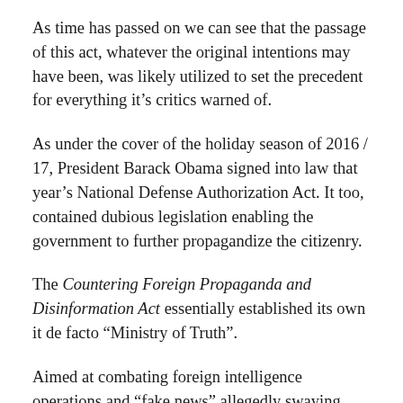As time has passed on we can see that the passage of this act, whatever the original intentions may have been, was likely utilized to set the precedent for everything it's critics warned of.
As under the cover of the holiday season of 2016 / 17, President Barack Obama signed into law that year's National Defense Authorization Act. It too, contained dubious legislation enabling the government to further propagandize the citizenry.
The Countering Foreign Propaganda and Disinformation Act essentially established its own it de facto "Ministry of Truth".
Aimed at combating foreign intelligence operations and “fake news” allegedly swaying public opinion about the 2016 election in the now thoroughly debunked